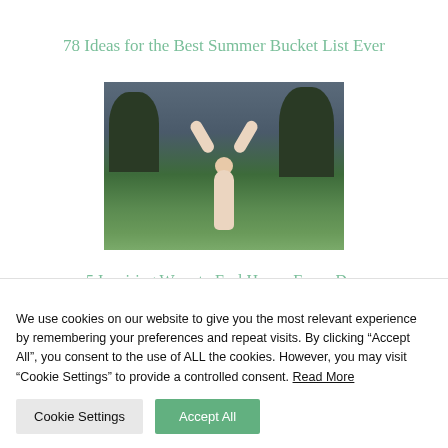78 Ideas for the Best Summer Bucket List Ever
[Figure (photo): Woman standing in a green field with arms raised above her head, trees in background, outdoor summer scene]
5 Inspiring Ways to Feel Happy Every Day
We use cookies on our website to give you the most relevant experience by remembering your preferences and repeat visits. By clicking “Accept All”, you consent to the use of ALL the cookies. However, you may visit "Cookie Settings" to provide a controlled consent. Read More